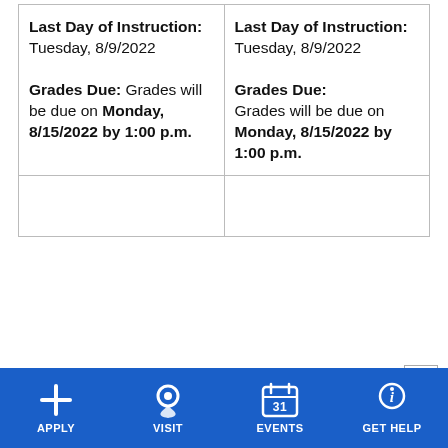| Last Day of Instruction: Tuesday, 8/9/2022
Grades Due: Grades will be due on Monday, 8/15/2022 by 1:00 p.m. | Last Day of Instruction: Tuesday, 8/9/2022
Grades Due: Grades will be due on Monday, 8/15/2022 by 1:00 p.m. |
|  |  |
Independence Holiday: Monday, July 4, 2022
APPLY  VISIT  EVENTS  GET HELP